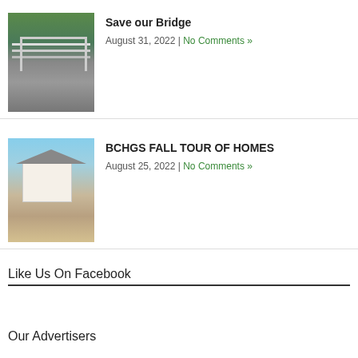[Figure (photo): Photo of a bridge structure with steel truss framing, viewed from below, with green trees in background]
Save our Bridge
August 31, 2022 | No Comments »
[Figure (photo): Photo of a historic white house with wraparound porch and bare trees, with dirt driveway in foreground]
BCHGS FALL TOUR OF HOMES
August 25, 2022 | No Comments »
Like Us On Facebook
Our Advertisers